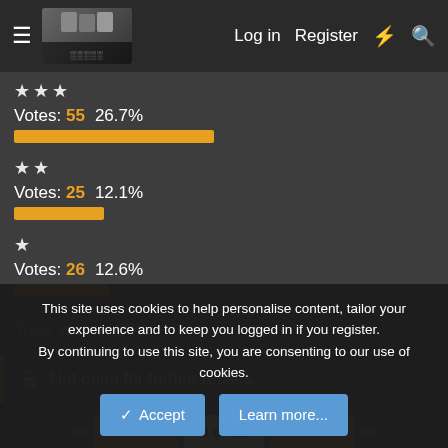Log in  Register
★★★
Votes: 55   26.7%
★★
Votes: 25   12.1%
★
Votes: 26   12.6%
Total voters: 206
Not open for further replies.
9 of 21
This site uses cookies to help personalise content, tailor your experience and to keep you logged in if you register.
By continuing to use this site, you are consenting to our use of cookies.
Accept  Learn more...